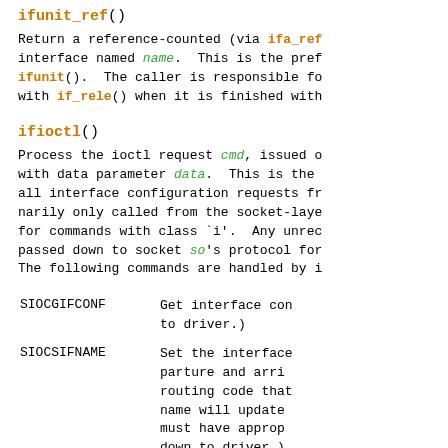ifunit_ref()
Return a reference-counted (via ifa_ref) interface named name. This is the preferred form of ifunit(). The caller is responsible for releasing the reference with if_rele() when it is finished with the interface.
ifioctl()
Process the ioctl request cmd, issued on socket so with data parameter data. This is the entry point for all interface configuration requests from userland, and is ordinarily only called from the socket-layer ioctl method for commands with class `i'. Any unrecognized commands are passed down to socket so's protocol for further processing. The following commands are handled by ifioctl():
SIOCGIFCONF - Get interface configuration (passed to driver.)
SIOCSIFNAME - Set the interface name. Notifies routing code that handles interface departure and arrival events. The routing code that caches interface name will update accordingly. Caller must have appropriate privilege. (Passed down to driver.)
SIOCGIFCAP
SIOCGIFDATA
SIOCGIFFIB